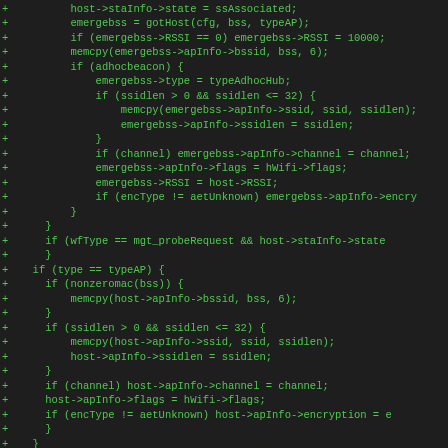[Figure (screenshot): Code diff screenshot showing C code additions (lines prefixed with +) in green on dark background. The code shows network/WiFi host management logic including emergebss and host struct field assignments.]